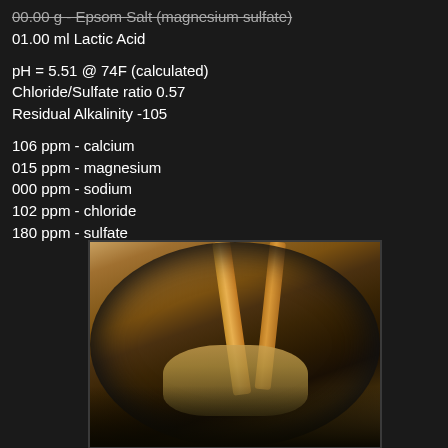00.00 g - Epsom Salt (magnesium sulfate)
01.00 ml Lactic Acid

pH = 5.51 @ 74F (calculated)
Chloride/Sulfate ratio 0.57
Residual Alkalinity -105

106 ppm - calcium
015 ppm - magnesium
000 ppm - sodium
102 ppm - chloride
180 ppm - sulfate
[Figure (photo): A metal brew pot viewed from above containing dark wort or liquid, with two wooden spoons/paddles and what appears to be a grain bag inside the pot.]